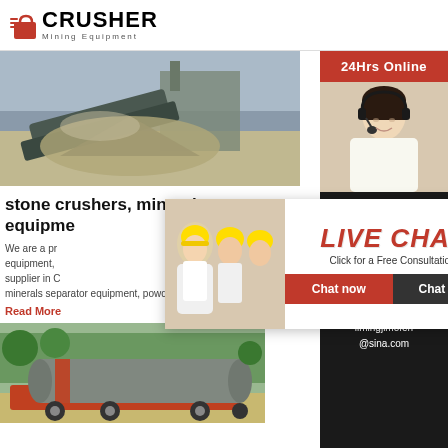[Figure (logo): Crusher Mining Equipment logo with red shopping bag icon and bold CRUSHER text]
[Figure (photo): Stone crusher machinery operating at a mining site with gravel and dust]
stone crushers, minerals separate equipment
We are a professional manufacturer of mining equipment, ... supplier in China, producing stone crushers, minerals separator equipment, powder
Read More
[Figure (photo): Large cylindrical ball mill on a truck at a plant site with trees in background]
[Figure (infographic): Live Chat popup overlay with two workers in hard hats, LIVE CHAT title in red italic, Click for a Free Consultation subtitle, Chat now and Chat later buttons]
[Figure (infographic): Right sidebar: 24Hrs Online header in red, customer service representative photo, Need questions & suggestion text, Chat Now button, Enquiry link, limingjlmofen@sina.com email]